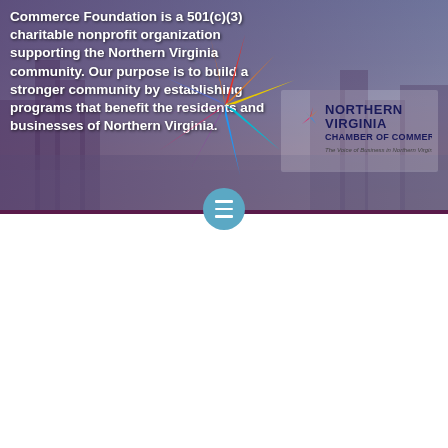[Figure (screenshot): Banner image with city skyline background, colorful star/compass logo, text about Commerce Foundation being a 501(c)(3) charitable nonprofit organization supporting the Northern Virginia community, and Northern Virginia Chamber of Commerce logo with tagline 'The Voice of Business in Northern Virginia']
Commerce Foundation is a 501(c)(3) charitable nonprofit organization supporting the Northern Virginia community. Our purpose is to build a stronger community by establishing programs that benefit the residents and businesses of Northern Virginia.
[Figure (logo): Northern Virginia Chamber Foundation large logo with colorful star graphic. Text reads: NORTHERN VIRGINIA CHAMBER FOUNDATION in bold dark blue with rainbow-colored FOUNDATION text.]
The